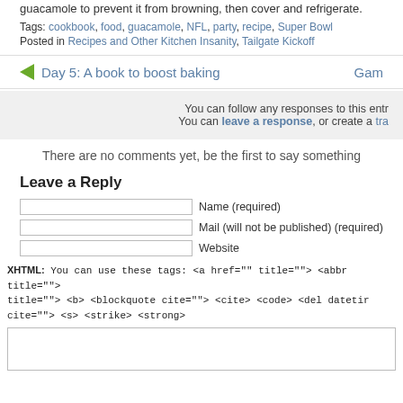guacamole to prevent it from browning, then cover and refrigerate.
Tags: cookbook, food, guacamole, NFL, party, recipe, Super Bowl
Posted in Recipes and Other Kitchen Insanity, Tailgate Kickoff
Day 5: A book to boost baking   Gam
You can follow any responses to this entr You can leave a response, or create a tra
There are no comments yet, be the first to say something
Leave a Reply
Name (required)
Mail (will not be published) (required)
Website
XHTML: You can use these tags: <a href="" title=""> <abbr title=""> title=""> <b> <blockquote cite=""> <cite> <code> <del datetir cite=""> <s> <strike> <strong>